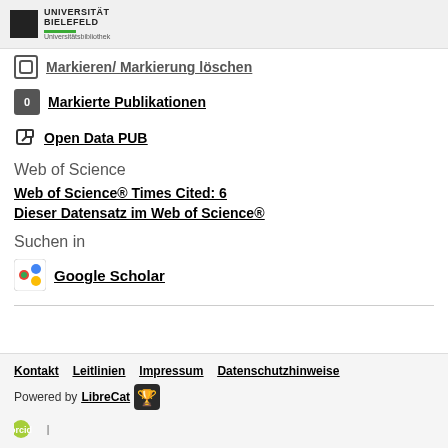UNIVERSITÄT BIELEFELD Universitätsbibliothek
Markieren/ Markierung löschen
0 Markierte Publikationen
Open Data PUB
Web of Science
Web of Science® Times Cited: 6
Dieser Datensatz im Web of Science®
Suchen in
Google Scholar
Kontakt   Leitlinien   Impressum   Datenschutzhinweise
Powered by LibreCat